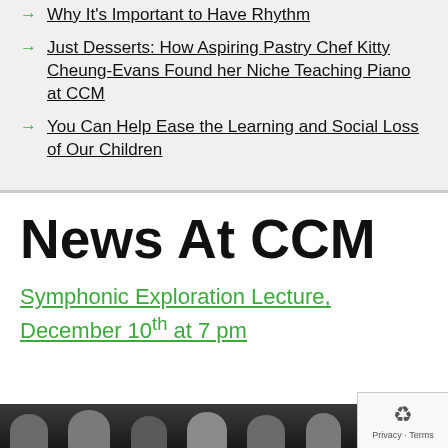Why It's Important to Have Rhythm
Just Desserts: How Aspiring Pastry Chef Kitty Cheung-Evans Found her Niche Teaching Piano at CCM
You Can Help Ease the Learning and Social Loss of Our Children
News At CCM
Symphonic Exploration Lecture, December 10th at 7 pm
[Figure (photo): Photo of orchestra musicians, heads visible at bottom of page]